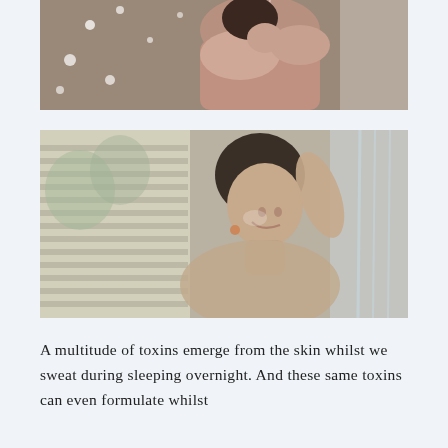[Figure (photo): A person showering, upper body visible with water droplets falling, dark background with steam/mist]
[Figure (photo): A woman in a shower, eyes closed with a smile, hand on head, steam around her, blinds visible in background window]
A multitude of toxins emerge from the skin whilst we sweat during sleeping overnight. And these same toxins can even formulate whilst